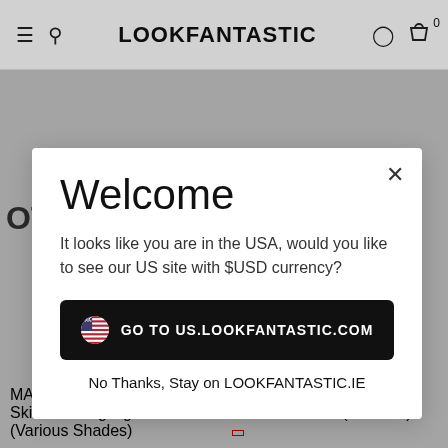LOOKFANTASTIC
[Figure (screenshot): LOOKFANTASTIC e-commerce website with navigation bar showing hamburger menu, search icon, LOOKFANTASTIC logo, user icon, and cart icon with 0 badge. Background shows greyed-out product listings.]
Welcome
It looks like you are in the USA, would you like to see our US site with $USD currency?
GO TO US.LOOKFANTASTIC.COM
No Thanks, Stay on LOOKFANTASTIC.IE
MAC Extra Dimension Skinfinish Highlighter (Various Shades)
Elegant Touch Nail Polish Remover Pads (20 Pads)